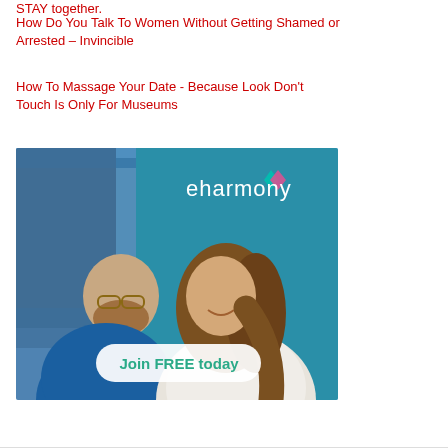STAY together.
How Do You Talk To Women Without Getting Shamed or Arrested – Invincible
How To Massage Your Date - Because Look Don't Touch Is Only For Museums
[Figure (photo): eharmony advertisement showing a smiling couple looking at each other, with 'eharmony' branding and a 'Join FREE today' button]